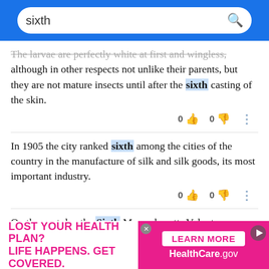sixth [search bar]
The larvae are perfectly white at first and wingless, although in other respects not unlike their parents, but they are not mature insects until after the sixth casting of the skin.
In 1905 the city ranked sixth among the cities of the country in the manufacture of silk and silk goods, its most important industry.
On the next day the Sixth Massachusetts Volunteer Infantry started south for the defence of
[Figure (screenshot): Advertisement banner: LOST YOUR HEALTH PLAN? LIFE HAPPENS. GET COVERED. LEARN MORE HealthCare.gov]